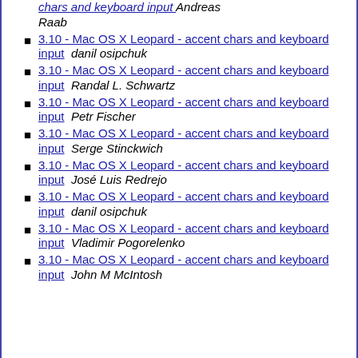3.10 - Mac OS X Leopard - accent chars and keyboard input  Andreas Raab
3.10 - Mac OS X Leopard - accent chars and keyboard input  danil osipchuk
3.10 - Mac OS X Leopard - accent chars and keyboard input  Randal L. Schwartz
3.10 - Mac OS X Leopard - accent chars and keyboard input  Petr Fischer
3.10 - Mac OS X Leopard - accent chars and keyboard input  Serge Stinckwich
3.10 - Mac OS X Leopard - accent chars and keyboard input  José Luis Redrejo
3.10 - Mac OS X Leopard - accent chars and keyboard input  danil osipchuk
3.10 - Mac OS X Leopard - accent chars and keyboard input  Vladimir Pogorelenko
3.10 - Mac OS X Leopard - accent chars and keyboard input  John M McIntosh